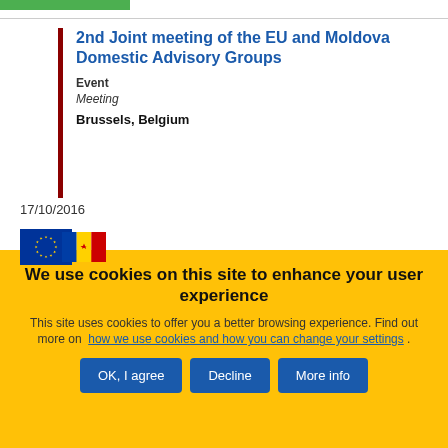2nd Joint meeting of the EU and Moldova Domestic Advisory Groups
Event
Meeting
Brussels, Belgium
17/10/2016
[Figure (illustration): EU flag and Moldova flag side by side]
We use cookies on this site to enhance your user experience
This site uses cookies to offer you a better browsing experience. Find out more on how we use cookies and how you can change your settings .